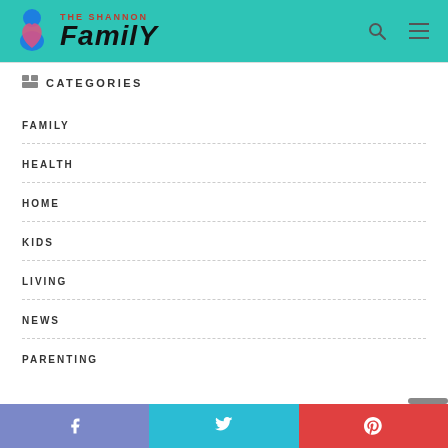THE SHANNON Family
CATEGORIES
FAMILY
HEALTH
HOME
KIDS
LIVING
NEWS
PARENTING
Facebook  Twitter  Pinterest